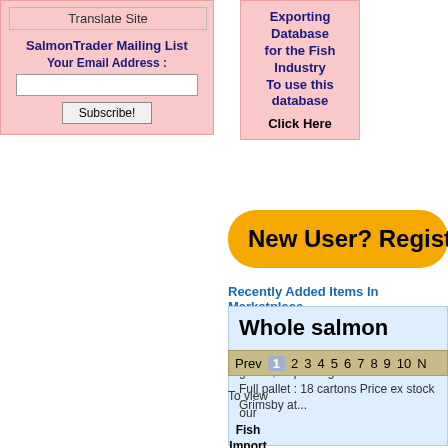Translate Site
SalmonTrader Mailing List
Your Email Address :
[Subscribe!]
Exporting Database for the Fish Industry To use this database Click Here
New User? Register Here
Recently Added Items In Marketplace
Whole salmon
Frozen whole salmon Head on, gutted, Superior g... Full pallet : 18 cartons Price ex stock Grimsby at...
Prev  1  2  3  4  5  6  7  8  9  10  N
To view our Fish Import and